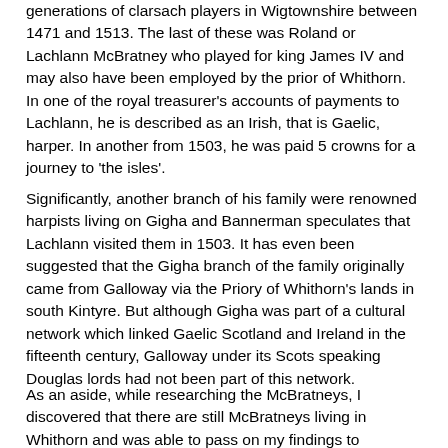generations of clarsach players in Wigtownshire between 1471 and 1513. The last of these was Roland or Lachlann McBratney who played for king James IV and may also have been employed by the prior of Whithorn. In one of the royal treasurer's accounts of payments to Lachlann, he is described as an Irish, that is Gaelic, harper. In another from 1503, he was paid 5 crowns for a journey to 'the isles'.
Significantly, another branch of his family were renowned harpists living on Gigha and Bannerman speculates that Lachlann visited them in 1503. It has even been suggested that the Gigha branch of the family originally came from Galloway via the Priory of Whithorn's lands in south Kintyre. But although Gigha was part of a cultural network which linked Gaelic Scotland and Ireland in the fifteenth century, Galloway under its Scots speaking Douglas lords had not been part of this network.
As an aside, while researching the McBratneys, I discovered that there are still McBratneys living in Whithorn and was able to pass on my findings to Alexander McBratney from Whithorn who is now professor of